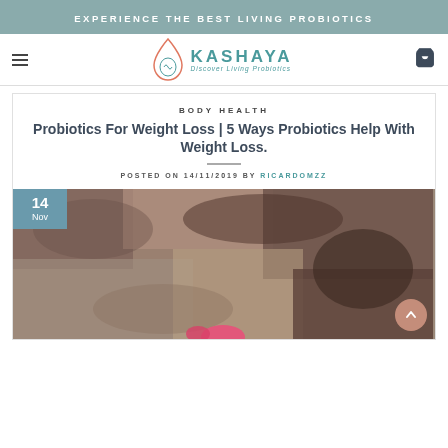EXPERIENCE THE BEST LIVING PROBIOTICS
[Figure (logo): Kashaya Living Probiotics logo with tagline 'Discover Living Probiotics']
BODY HEALTH
Probiotics For Weight Loss | 5 Ways Probiotics Help With Weight Loss.
POSTED ON 14/11/2019 BY RICARDOMZZ
[Figure (photo): Photo of a person lying on a rocky/stone surface with a pink object visible at the bottom, with a date badge showing '14 Nov' in the top left corner]